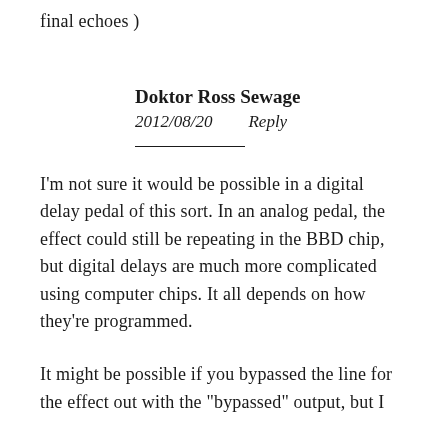final echoes )
Doktor Ross Sewage
2012/08/20    Reply
I'm not sure it would be possible in a digital delay pedal of this sort. In an analog pedal, the effect could still be repeating in the BBD chip, but digital delays are much more complicated using computer chips. It all depends on how they're programmed.
It might be possible if you bypassed the line for the effect out with the "bypassed" output, but I